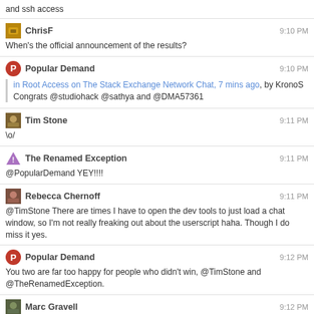and ssh access
ChrisF  9:10 PM
When's the official announcement of the results?
Popular Demand  9:10 PM
in Root Access on The Stack Exchange Network Chat, 7 mins ago, by KronoS
Congrats @studiohack @sathya and @DMA57361
Tim Stone  9:11 PM
\o/
The Renamed Exception  9:11 PM
@PopularDemand YEY!!!!
Rebecca Chernoff  9:11 PM
@TimStone There are times I have to open the dev tools to just load a chat window, so I'm not really freaking out about the userscript haha. Though I do miss it yes.
Popular Demand  9:12 PM
You two are far too happy for people who didn't win, @TimStone and @TheRenamedException.
Marc Gravell  9:12 PM
@ChrisF to be honest, that is the main reason I took the job. Getting paid is one thing, but FREE SO TSHIRTS! sorted.  ★ 2